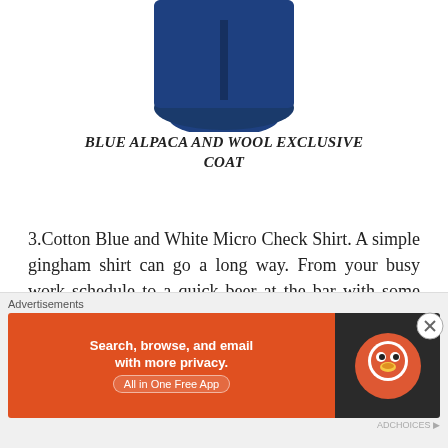[Figure (photo): Partial view of a blue alpaca and wool coat, showing the collar and upper body area against a white background]
BLUE ALPACA AND WOOL EXCLUSIVE COAT
3.Cotton Blue and White Micro Check Shirt. A simple gingham shirt can go a long way. From your busy work schedule to a quick beer at the bar with some friends. The uses and styling are endless.
[Figure (photo): Partial top view of a blue and white micro check / gingham shirt]
[Figure (screenshot): DuckDuckGo advertisement banner: Search, browse, and email with more privacy. All in One Free App]